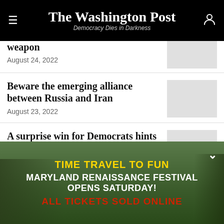The Washington Post — Democracy Dies in Darkness
weapon
August 24, 2022
Beware the emerging alliance between Russia and Iran
August 23, 2022
A surprise win for Democrats hints at a shift for 2022
[Figure (photo): Maryland Renaissance Festival advertisement banner with text: TIME TRAVEL TO FUN, MARYLAND RENAISSANCE FESTIVAL OPENS SATURDAY!, ALL TICKETS SOLD ONLINE. Shows costumed performers in a forested festival setting.]